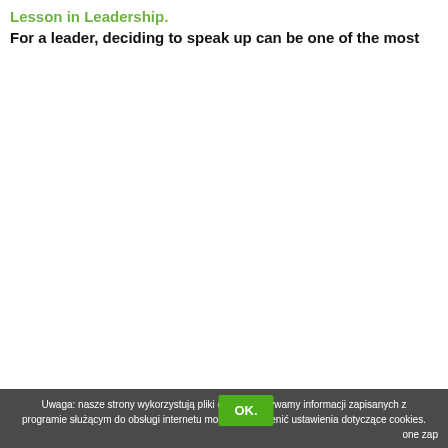Lesson in Leadership.
For a leader, deciding to speak up can be one of the most
Uwaga: nasze strony wykorzystują pliki cookies. Używamy informacji zapisanych z programie służącym do obsługi internetu możenić ustawienia dotyczące cookies. one zap OK.